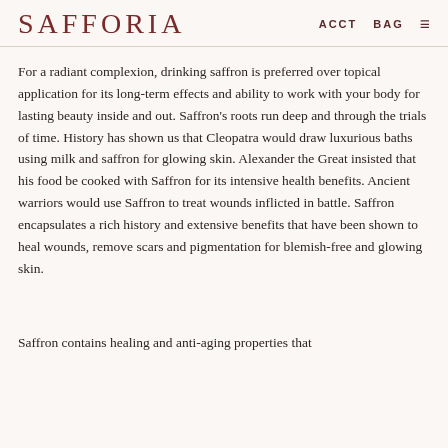SAFFORIA   ACCT   BAG   ☰
For a radiant complexion, drinking saffron is preferred over topical application for its long-term effects and ability to work with your body for lasting beauty inside and out. Saffron's roots run deep and through the trials of time. History has shown us that Cleopatra would draw luxurious baths using milk and saffron for glowing skin. Alexander the Great insisted that his food be cooked with Saffron for its intensive health benefits. Ancient warriors would use Saffron to treat wounds inflicted in battle. Saffron encapsulates a rich history and extensive benefits that have been shown to heal wounds, remove scars and pigmentation for blemish-free and glowing skin.
Saffron contains healing and anti-aging properties that